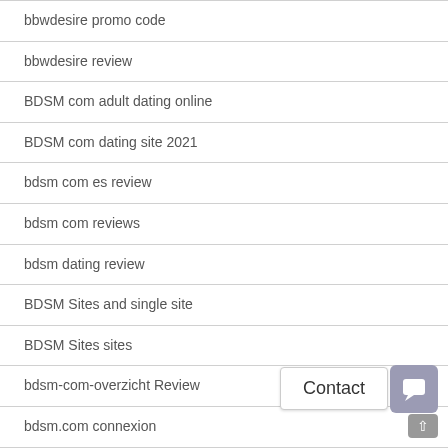bbwdesire promo code
bbwdesire review
BDSM com adult dating online
BDSM com dating site 2021
bdsm com es review
bdsm com reviews
bdsm dating review
BDSM Sites and single site
BDSM Sites sites
bdsm-com-overzicht Review
bdsm.com connexion
be2 app